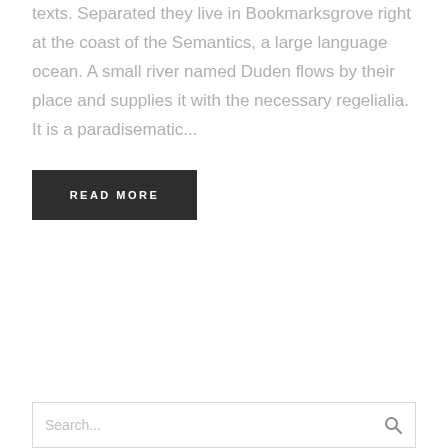texts. Separated they live in Bookmarksgrove right at the coast of the Semantics, a large language ocean. A small river named Duden flows by their place and supplies it with the necessary regelialia. It is a paradisematic...
READ MORE
Search...